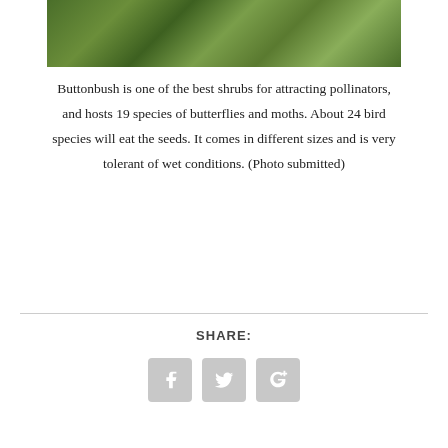[Figure (photo): Close-up photo of green leaves from a Buttonbush shrub]
Buttonbush is one of the best shrubs for attracting pollinators, and hosts 19 species of butterflies and moths. About 24 bird species will eat the seeds. It comes in different sizes and is very tolerant of wet conditions. (Photo submitted)
SHARE:
[Figure (infographic): Social media sharing icons: Facebook, Twitter, Google+]